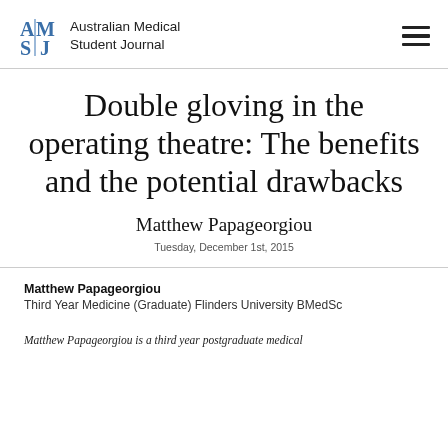Australian Medical Student Journal
Double gloving in the operating theatre: The benefits and the potential drawbacks
Matthew Papageorgiou
Tuesday, December 1st, 2015
Matthew Papageorgiou
Third Year Medicine (Graduate) Flinders University BMedSc
Matthew Papageorgiou is a third year postgraduate medical